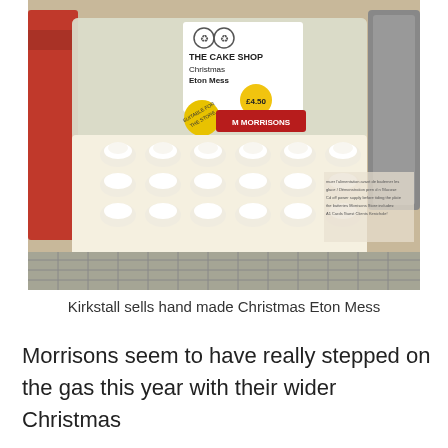[Figure (photo): A clear plastic container of Morrisons Christmas Eton Mess meringues on a supermarket shelf. The label reads 'THE CAKE SHOP Christmas Eton Mess £4.50' with a Morrisons logo and a yellow 'Suitable for Freezing' sticker.]
Kirkstall sells hand made Christmas Eton Mess
Morrisons seem to have really stepped on the gas this year with their wider Christmas